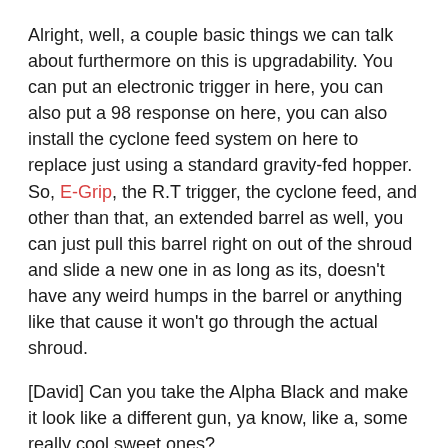Alright, well, a couple basic things we can talk about furthermore on this is upgradability. You can put an electronic trigger in here, you can also put a 98 response on here, you can also install the cyclone feed system on here to replace just using a standard gravity-fed hopper. So, E-Grip, the R.T trigger, the cyclone feed, and other than that, an extended barrel as well, you can just pull this barrel right on out of the shroud and slide a new one in as long as its, doesn't have any weird humps in the barrel or anything like that cause it won't go through the actual shroud.
[David] Can you take the Alpha Black and make it look like a different gun, ya know, like a, some really cool sweet ones?
You can definitely put other Tippmann alpha black tactical attachments and accessories on here.